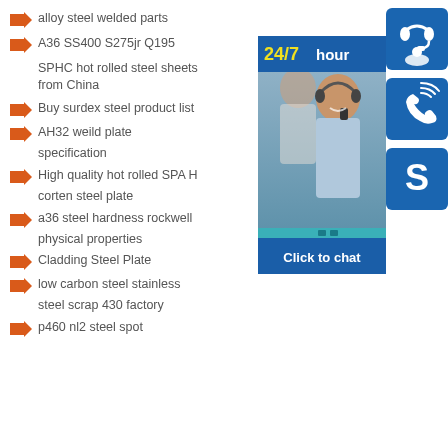alloy steel welded parts
A36 SS400 S275jr Q195
SPHC hot rolled steel sheets from China
Buy surdex steel product list
AH32 weild plate specification
High quality hot rolled SPA H corten steel plate
a36 steel hardness rockwell physical properties
Cladding Steel Plate
low carbon steel stainless steel scrap 430 factory
p460 nl2 steel spot
[Figure (infographic): 24/7 hour chat widget with photo of customer service agents, three blue icon buttons (headset, phone, Skype), and a 'Click to chat' banner at bottom]